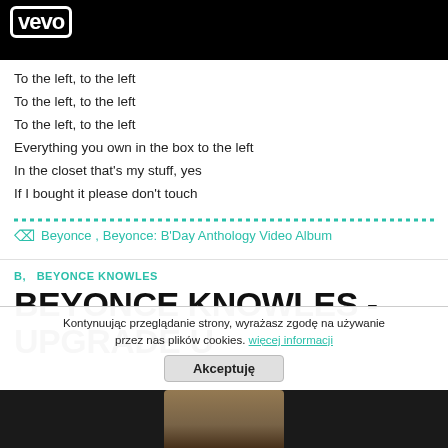[Figure (screenshot): Black Vevo logo bar at top of page]
To the left, to the left
To the left, to the left
To the left, to the left
Everything you own in the box to the left
In the closet that's my stuff, yes
If I bought it please don't touch
Beyonce ,   Beyonce: B'Day Anthology Video Album
B,   BEYONCE KNOWLES
BEYONCE KNOWLES - UPGRADE U
Kontynuując przeglądanie strony, wyrażasz zgodę na używanie przez nas plików cookies. więcej informacji  Akceptuję